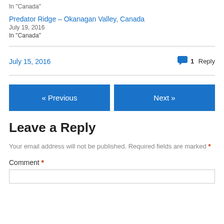In "Canada"
Predator Ridge – Okanagan Valley, Canada
July 19, 2016
In "Canada"
July 15, 2016   1 Reply
« Previous
Next »
Leave a Reply
Your email address will not be published. Required fields are marked *
Comment *